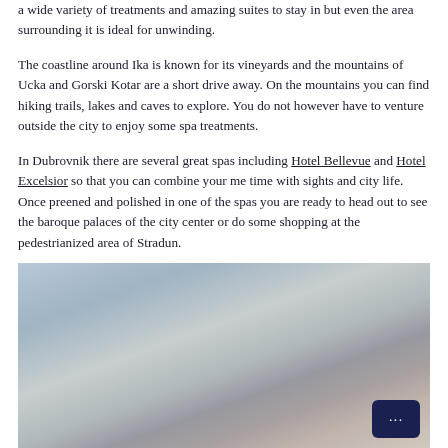a wide variety of treatments and amazing suites to stay in but even the area surrounding it is ideal for unwinding.

The coastline around Ika is known for its vineyards and the mountains of Ucka and Gorski Kotar are a short drive away. On the mountains you can find hiking trails, lakes and caves to explore. You do not however have to venture outside the city to enjoy some spa treatments.

In Dubrovnik there are several great spas including Hotel Bellevue and Hotel Excelsior so that you can combine your me time with sights and city life. Once preened and polished in one of the spas you are ready to head out to see the baroque palaces of the city center or do some shopping at the pedestrianized area of Stradun.
[Figure (photo): A blurred/soft-focus landscape or seascape photograph with muted blue-grey and beige tones, partially visible at the bottom of the page.]